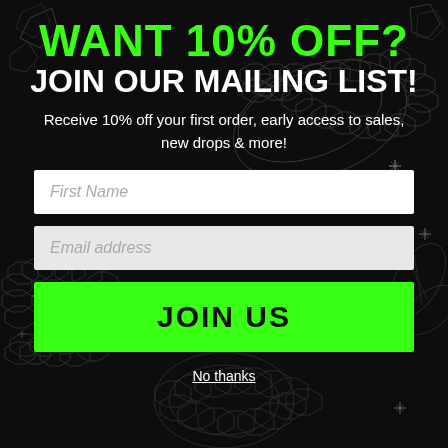WANT 10% OFF?
JOIN OUR MAILING LIST!
Receive 10% off your first order, early access to sales, new drops & more!
[Figure (infographic): Dark background with wireframe snake/sphere decorative illustrations in grey on black]
First Name
Email address
JOIN US
No thanks